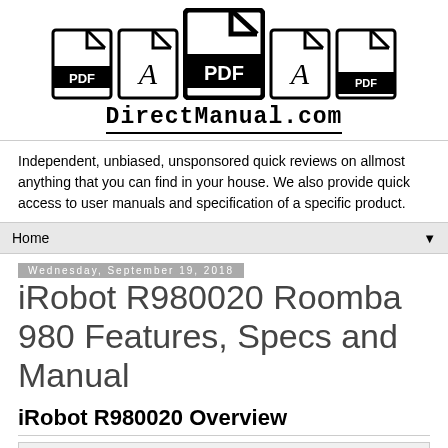[Figure (logo): Five PDF/document icons of varying sizes arranged in a row, with the middle one being the largest and styled as a PDF icon with bold border]
DirectManual.com
Independent, unbiased, unsponsored quick reviews on allmost anything that you can find in your house. We also provide quick access to user manuals and specification of a specific product.
Home ▼
Wednesday, September 19, 2018
iRobot R980020 Roomba 980 Features, Specs and Manual
iRobot R980020 Overview